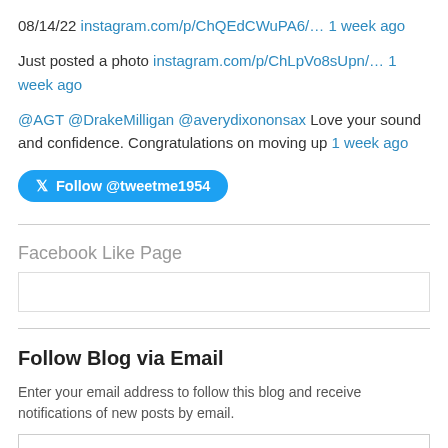08/14/22 instagram.com/p/ChQEdCWuPA6/… 1 week ago
Just posted a photo instagram.com/p/ChLpVo8sUpn/… 1 week ago
@AGT @DrakeMilligan @averydixononsax Love your sound and confidence. Congratulations on moving up 1 week ago
Follow @tweetme1954
Facebook Like Page
Follow Blog via Email
Enter your email address to follow this blog and receive notifications of new posts by email.
Enter your email address